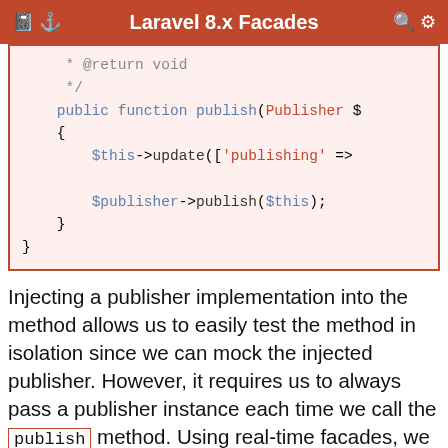Laravel 8.x Facades
* @return void
     */
    public function publish(Publisher $
    {
        $this->update(['publishing' =>

        $publisher->publish($this);
    }
}
Injecting a publisher implementation into the method allows us to easily test the method in isolation since we can mock the injected publisher. However, it requires us to always pass a publisher instance each time we call the publish method. Using real-time facades, we can maintain the same testability while